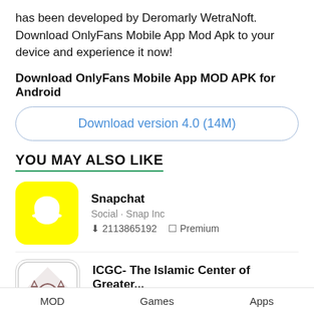has been developed by Deromarly WetraNoft. Download OnlyFans Mobile App Mod Apk to your device and experience it now!
Download OnlyFans Mobile App MOD APK for Android
Download version 4.0 (14M)
YOU MAY ALSO LIKE
Snapchat
Social · Snap Inc
2113865192   Premium
ICGC- The Islamic Center of Greater...
Social · MadinaAPPS
500+   Premium Unlocked
MOD   Games   Apps